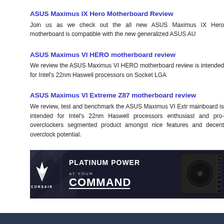ASUS Maximus IX Hero Motherboard Review
Join us as we check out the all new ASUS Maximus IX Hero motherboard is compatible with the new generalized ASUS AU
ASUS Maximus VI HERO motherboard review
We review the ASUS Maximus VI HERO motherboard review is intended for Intel's 22nm Haswell processors on Socket LGA
ASUS Maximus VI Extreme Z87 motherboard review
We review, test and benchmark the ASUS Maximus VI Extr mainboard is intended for Intel's 22nm Haswell processors enthusiast and pro-overclockers segmented product amongst nice features and decent overclock potential.
[Figure (photo): Corsair advertisement banner showing 'PLATINUM POWER AT YOUR COMMAND' with Corsair logo on dark geometric background and PSU product image on right]